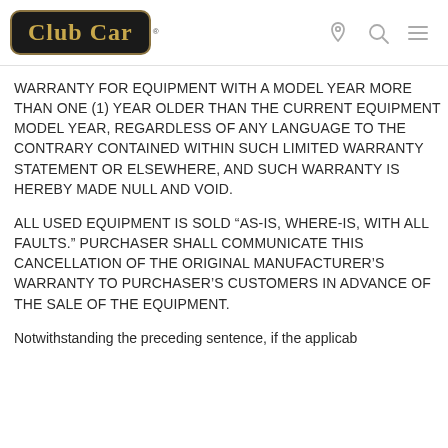Club Car [logo with navigation icons]
WARRANTY FOR EQUIPMENT WITH A MODEL YEAR MORE THAN ONE (1) YEAR OLDER THAN THE CURRENT EQUIPMENT MODEL YEAR, REGARDLESS OF ANY LANGUAGE TO THE CONTRARY CONTAINED WITHIN SUCH LIMITED WARRANTY STATEMENT OR ELSEWHERE, AND SUCH WARRANTY IS HEREBY MADE NULL AND VOID.
ALL USED EQUIPMENT IS SOLD “AS-IS, WHERE-IS, WITH ALL FAULTS.” PURCHASER SHALL COMMUNICATE THIS CANCELLATION OF THE ORIGINAL MANUFACTURER’S WARRANTY TO PURCHASER’S CUSTOMERS IN ADVANCE OF THE SALE OF THE EQUIPMENT.
Notwithstanding the preceding sentence, if the applicab